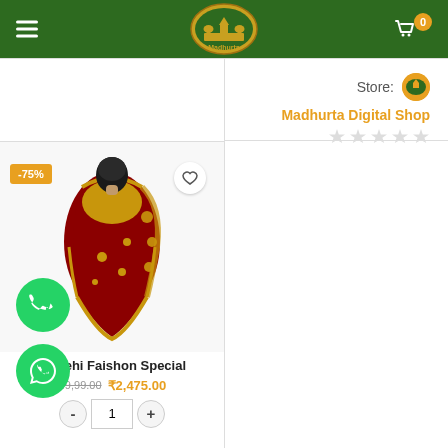[Figure (screenshot): Madhurta e-commerce website header with green background, hamburger menu on left, Madhurta logo in center, shopping cart icon with badge '0' on right]
Store: Madhurta Digital Shop
[Figure (photo): Woman in red and gold embroidered saree/lehenga shown from behind, product listing with -75% discount badge and heart/wishlist button]
Vaidehi Faishon Special
₹9,99.00  ₹2,475.00
- 1 +